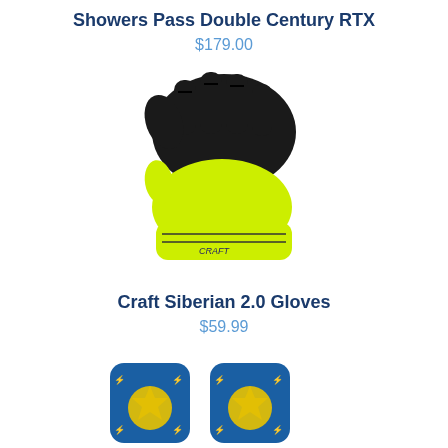Showers Pass Double Century RTX
$179.00
[Figure (photo): Black and neon yellow cycling gloves (Craft Siberian 2.0 Gloves) photographed from above showing palm and back side]
Craft Siberian 2.0 Gloves
$59.99
[Figure (photo): Blue and yellow cycling/athletic socks with lightning bolt and shell pattern, shown as a pair]